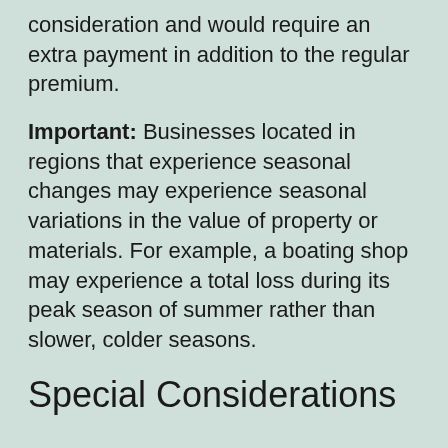consideration and would require an extra payment in addition to the regular premium.
Important: Businesses located in regions that experience seasonal changes may experience seasonal variations in the value of property or materials. For example, a boating shop may experience a total loss during its peak season of summer rather than slower, colder seasons.
Special Considerations